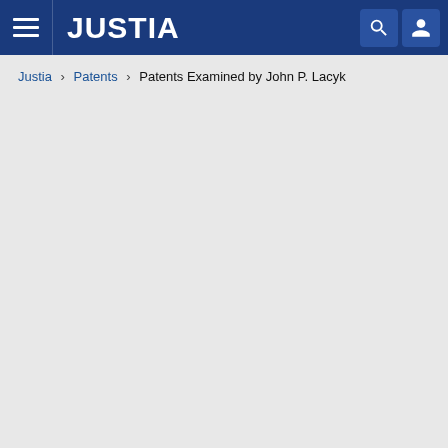JUSTIA
Justia › Patents › Patents Examined by John P. Lacyk